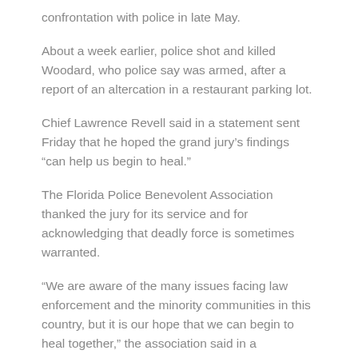confrontation with police in late May.
About a week earlier, police shot and killed Woodard, who police say was armed, after a report of an altercation in a restaurant parking lot.
Chief Lawrence Revell said in a statement sent Friday that he hoped the grand jury’s findings “can help us begin to heal.”
The Florida Police Benevolent Association thanked the jury for its service and for acknowledging that deadly force is sometimes warranted.
“We are aware of the many issues facing law enforcement and the minority communities in this country, but it is our hope that we can begin to heal together,” the association said in a statement. “It must start somewhere,